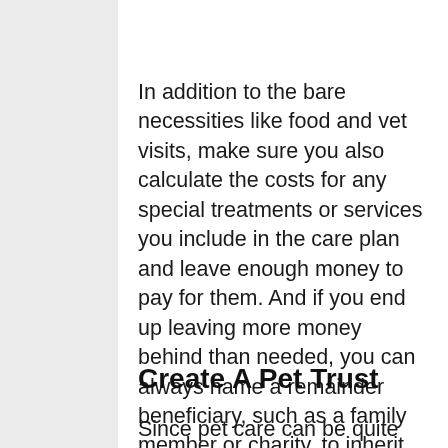In addition to the bare necessities like food and vet visits, make sure you also calculate the costs for any special treatments or services you include in the care plan and leave enough money to pay for them. And if you end up leaving more money behind than needed, you can always name a remainder beneficiary, such as a family member or charity, to inherit any funds not spent on the pet.
Create A Pet Trust
Since pet care can be quite complicated and costly, the best